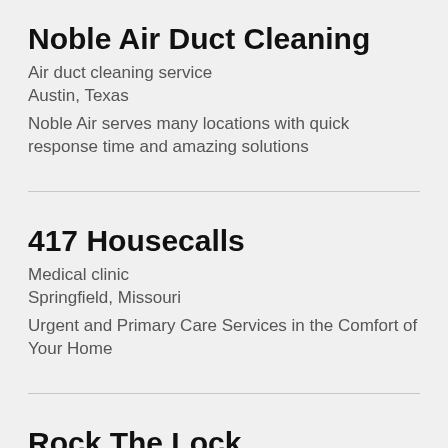Noble Air Duct Cleaning
Air duct cleaning service
Austin, Texas
Noble Air serves many locations with quick response time and amazing solutions
417 Housecalls
Medical clinic
Springfield, Missouri
Urgent and Primary Care Services in the Comfort of Your Home
Rock The Lock